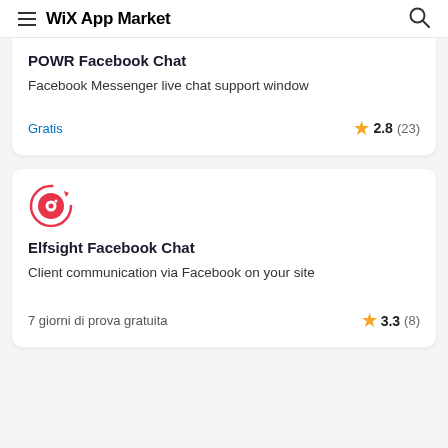WiX App Market
POWR Facebook Chat
Facebook Messenger live chat support window
Gratis
2.8 (23)
[Figure (logo): Elfsight app icon - circular logo with pink/red ring and camera-like icon]
Elfsight Facebook Chat
Client communication via Facebook on your site
7 giorni di prova gratuita
3.3 (8)